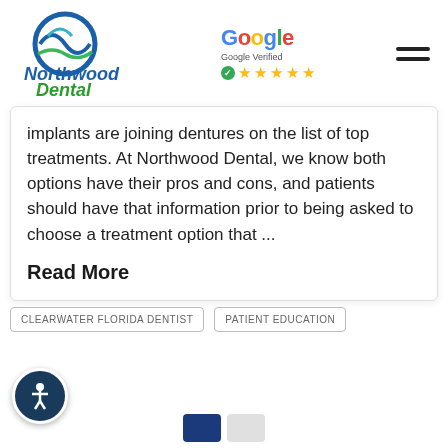[Figure (logo): Northwood Dental logo with blue wave/tooth icon]
[Figure (logo): Google Verified 5-star rating badge]
implants are joining dentures on the list of top treatments. At Northwood Dental, we know both options have their pros and cons, and patients should have that information prior to being asked to choose a treatment option that ...
Read More
CLEARWATER FLORIDA DENTIST
PATIENT EDUCATION